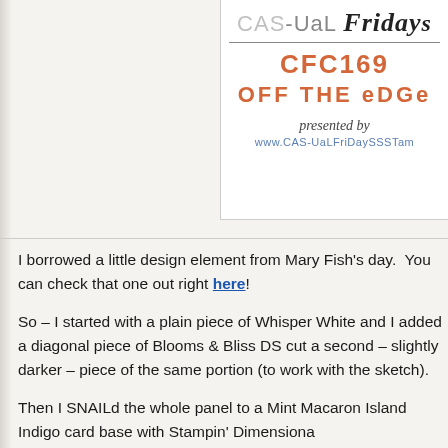[Figure (logo): CAS-ual Fridays challenge logo box showing 'CAS-ual Fridays', 'CFC169', 'OFF THE EDGE', 'presented by', 'www.cas-ualfridaysstamp...' — partially cropped on right side]
I borrowed a little design element from Mary Fish's day. You can check that one out right here!
So – I started with a plain piece of Whisper White and I added a diagonal piece of Blooms & Bliss DS cut a second – slightly darker – piece of the same portion (to work with the sketch).
Then I SNAILd the whole panel to a Mint Macaron Island Indigo card base with Stampin' Dimensiona